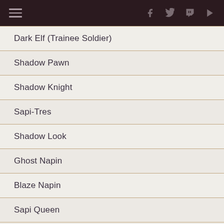Dark Elf (Trainee Soldier)
Shadow Pawn
Shadow Knight
Sapi-Tres
Shadow Look
Ghost Napin
Blaze Napin
Sapi Queen
Ice Napin
Shadow Master
Ice Walker